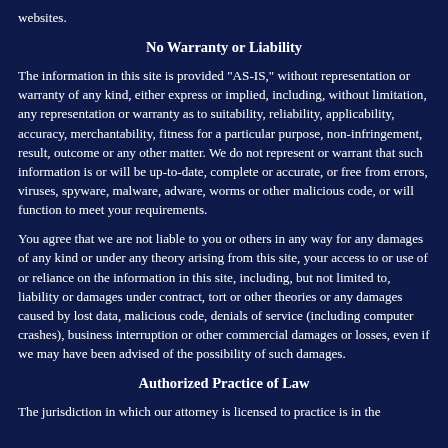websites.
No Warranty or Liability
The information in this site is provided "AS-IS," without representation or warranty of any kind, either express or implied, including, without limitation, any representation or warranty as to suitability, reliability, applicability, accuracy, merchantability, fitness for a particular purpose, non-infringement, result, outcome or any other matter. We do not represent or warrant that such information is or will be up-to-date, complete or accurate, or free from errors, viruses, spyware, malware, adware, worms or other malicious code, or will function to meet your requirements.
You agree that we are not liable to you or others in any way for any damages of any kind or under any theory arising from this site, your access to or use of or reliance on the information in this site, including, but not limited to, liability or damages under contract, tort or other theories or any damages caused by lost data, malicious code, denials of service (including computer crashes), business interruption or other commercial damages or losses, even if we may have been advised of the possibility of such damages.
Authorized Practice of Law
The jurisdiction in which our attorney is licensed to practice is in the